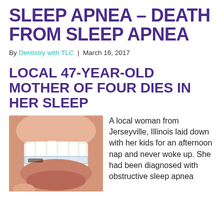SLEEP APNEA – DEATH FROM SLEEP APNEA
By Dentistry with TLC | March 16, 2017
LOCAL 47-YEAR-OLD MOTHER OF FOUR DIES IN HER SLEEP
[Figure (photo): Close-up photo of a person smiling showing teeth with a clear dental/sleep apnea mouthguard appliance]
A local woman from Jerseyville, Illinois laid down with her kids for an afternoon nap and never woke up. She had been diagnosed with obstructive sleep apnea